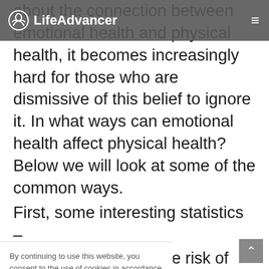LifeAdvancer
about the connection between emotional health and physical health, it becomes increasingly hard for those who are dismissive of this belief to ignore it. In what ways can emotional health affect physical health? Below we will look at some of the common ways.
First, some interesting statistics –
...e risk of ...nd the ...7%. ...phrenia ...likely to ...ce as
By continuing to use this website, you consent to the use of cookies in accordance with our Cookie Policy.